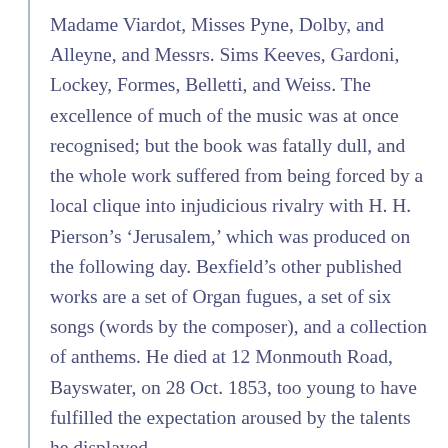Madame Viardot, Misses Pyne, Dolby, and Alleyne, and Messrs. Sims Keeves, Gardoni, Lockey, Formes, Belletti, and Weiss. The excellence of much of the music was at once recognised; but the book was fatally dull, and the whole work suffered from being forced by a local clique into injudicious rivalry with H. H. Pierson’s ‘Jerusalem,’ which was produced on the following day. Bexfield’s other published works are a set of Organ fugues, a set of six songs (words by the composer), and a collection of anthems. He died at 12 Monmouth Road, Bayswater, on 28 Oct. 1853, too young to have fulfilled the expectation aroused by the talents he displayed.